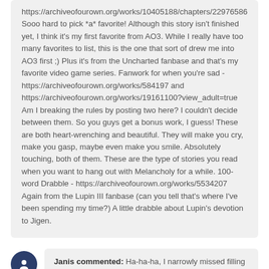https://archiveofourown.org/works/10405188/chapters/22976586 Sooo hard to pick *a* favorite! Although this story isn't finished yet, I think it's my first favorite from AO3. While I really have too many favorites to list, this is the one that sort of drew me into AO3 first ;) Plus it's from the Uncharted fanbase and that's my favorite video game series. Fanwork for when you're sad - https://archiveofourown.org/works/584197 and https://archiveofourown.org/works/19161100?view_adult=true Am I breaking the rules by posting two here? I couldn't decide between them. So you guys get a bonus work, I guess! These are both heart-wrenching and beautiful. They will make you cry, make you gasp, maybe even make you smile. Absolutely touching, both of them. These are the type of stories you read when you want to hang out with Melancholy for a while. 100-word Drabble - https://archiveofourown.org/works/5534207 Again from the Lupin III fanbase (can you tell that's where I've been spending my time?) A little drabble about Lupin's devotion to Jigen.
Janis commented: Ha-ha-ha, I narrowly missed filling out all of the last column on one piece of fanfiction alone. :-) Surprised